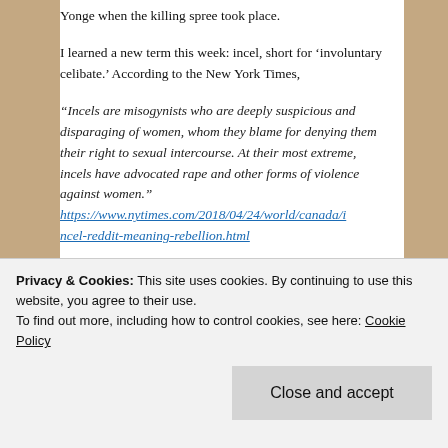Yonge when the killing spree took place.
I learned a new term this week: incel, short for 'involuntary celibate.' According to the New York Times,
“Incels are misogynists who are deeply suspicious and disparaging of women, whom they blame for denying them their right to sexual intercourse. At their most extreme, incels have advocated rape and other forms of violence against women.” https://www.nytimes.com/2018/04/24/world/canada/incel-reddit-meaning-rebellion.html
Bill Cosby’s conviction is another demonstration that powerful men can no longer expect to get away with
Privacy & Cookies: This site uses cookies. By continuing to use this website, you agree to their use.
To find out more, including how to control cookies, see here: Cookie Policy
Close and accept